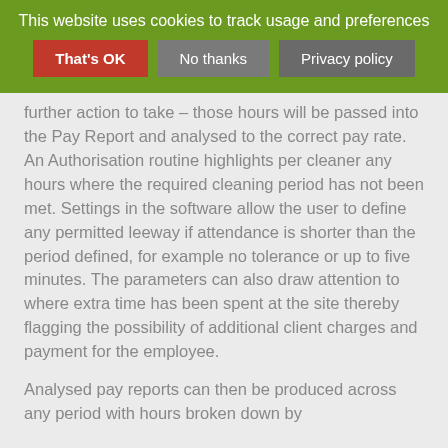[Figure (screenshot): Cookie consent banner with green background showing message 'This website uses cookies to track usage and preferences' and three buttons: 'That's OK' (red), 'No thanks' (grey), 'Privacy policy' (grey)]
further action to take – those hours will be passed into the Pay Report and analysed to the correct pay rate. An Authorisation routine highlights per cleaner any hours where the required cleaning period has not been met. Settings in the software allow the user to define any permitted leeway if attendance is shorter than the period defined, for example no tolerance or up to five minutes. The parameters can also draw attention to where extra time has been spent at the site thereby flagging the possibility of additional client charges and payment for the employee.
Analysed pay reports can then be produced across any period with hours broken down by